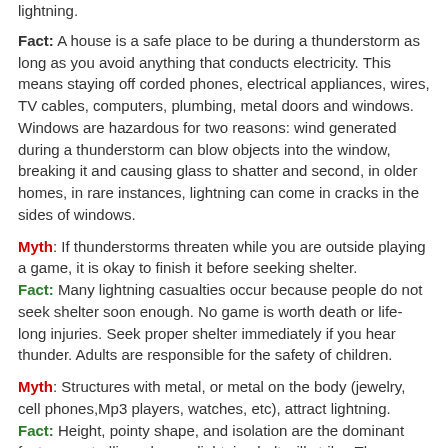lightning.
Fact: A house is a safe place to be during a thunderstorm as long as you avoid anything that conducts electricity. This means staying off corded phones, electrical appliances, wires, TV cables, computers, plumbing, metal doors and windows. Windows are hazardous for two reasons: wind generated during a thunderstorm can blow objects into the window, breaking it and causing glass to shatter and second, in older homes, in rare instances, lightning can come in cracks in the sides of windows.
Myth: If thunderstorms threaten while you are outside playing a game, it is okay to finish it before seeking shelter. Fact: Many lightning casualties occur because people do not seek shelter soon enough. No game is worth death or life-long injuries. Seek proper shelter immediately if you hear thunder. Adults are responsible for the safety of children.
Myth: Structures with metal, or metal on the body (jewelry, cell phones,Mp3 players, watches, etc), attract lightning. Fact: Height, pointy shape, and isolation are the dominant factors controlling where a lightning bolt will strike. The